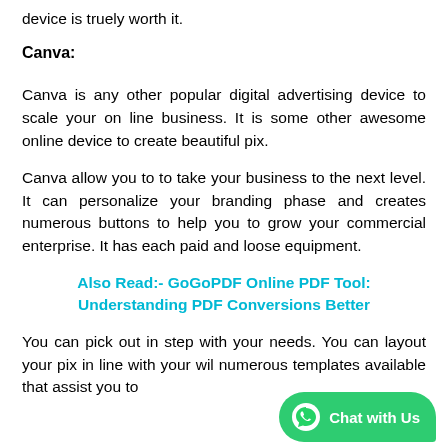device is truely worth it.
Canva:
Canva is any other popular digital advertising device to scale your on line business. It is some other awesome online device to create beautiful pix.
Canva allow you to to take your business to the next level. It can personalize your branding phase and creates numerous buttons to help you to grow your commercial enterprise. It has each paid and loose equipment.
Also Read:- GoGoPDF Online PDF Tool: Understanding PDF Conversions Better
You can pick out in step with your needs. You can layout your pix in line with your wil numerous templates available that assist you to